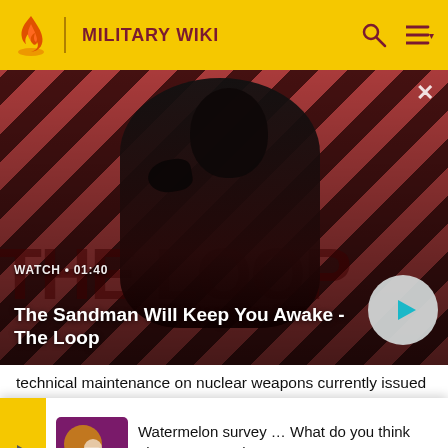MILITARY WIKI
[Figure (screenshot): Video banner for 'The Sandman Will Keep You Awake - The Loop' with a dark figure against a red diagonal striped background, showing WATCH • 01:40 label and a play button]
The Sandman Will Keep You Awake - The Loop
technical maintenance on nuclear weapons currently issued to end-users at their territories. For this reason each currently repre
[Figure (infographic): Advertisement banner: Watermelon survey … What do you think about Harry Styles? TAKE THE SURVEY HERE]